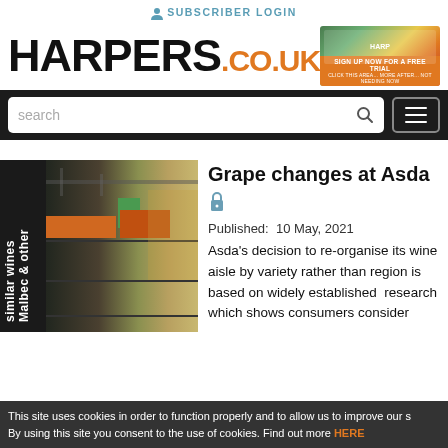SUBSCRIBER LOGIN
[Figure (logo): HARPERS.CO.UK logo with orange .CO.UK text, and a promotional ad banner on the right]
[Figure (screenshot): Search bar with placeholder text 'search' and magnifier icon, plus a hamburger menu button, on a dark background nav bar]
[Figure (photo): Interior of supermarket wine aisle with dark shelving and a sign reading 'Malbec & other similar wines']
Grape changes at Asda
Published:  10 May, 2021
Asda's decision to re-organise its wine aisle by variety rather than region is based on widely established  research which shows consumers consider
This site uses cookies in order to function properly and to allow us to improve our s By using this site you consent to the use of cookies. Find out more HERE